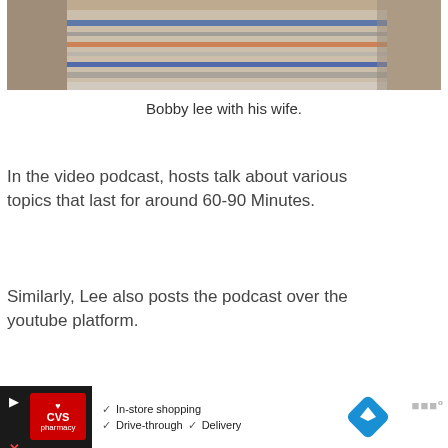[Figure (photo): Photo of Bobby Lee with his wife, showing striped clothing, partially cropped at top of page]
Bobby lee with his wife.
In the video podcast, hosts talk about various topics that last for around 60-90 Minutes.
Similarly, Lee also posts the podcast over the youtube platform.
[Figure (other): Advertisement banner for CVS Pharmacy showing In-store shopping, Drive-through, and Delivery options, with navigation/map app icons]
CVS pharmacy — In-store shopping · Drive-through · Delivery